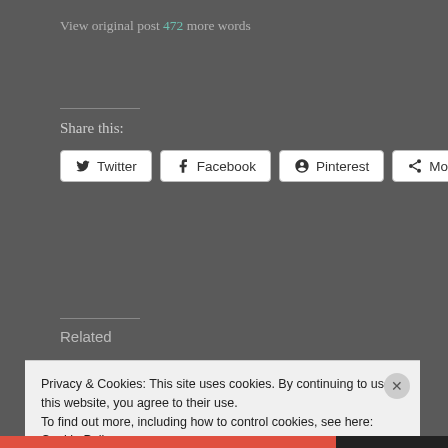View original post 472 more words
Share this:
Twitter Facebook Pinterest More
Related
A WALK IN ANDERSON
QUOTES ABOUT
Privacy & Cookies: This site uses cookies. By continuing to use this website, you agree to their use.
To find out more, including how to control cookies, see here: Cookie Policy
Close and accept